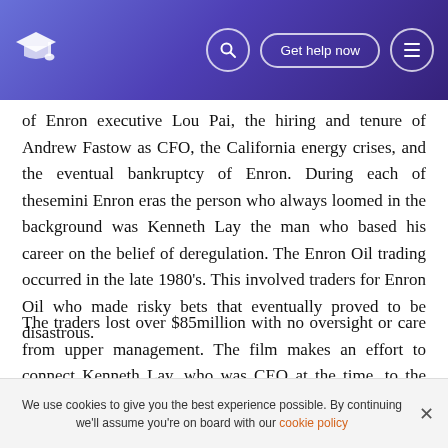Get help now
of Enron executive Lou Pai, the hiring and tenure of Andrew Fastow as CFO, the California energy crises, and the eventual bankruptcy of Enron. During each of thesemini Enron eras the person who always loomed in the background was Kenneth Lay the man who based his career on the belief of deregulation. The Enron Oil trading occurred in the late 1980's. This involved traders for Enron Oil who made risky bets that eventually proved to be disastrous.
The traders lost over $85million with no oversight or care from upper management. The film makes an effort to connect Kenneth Lay, who was CEO at the time, to the risky...
We use cookies to give you the best experience possible. By continuing we'll assume you're on board with our cookie policy